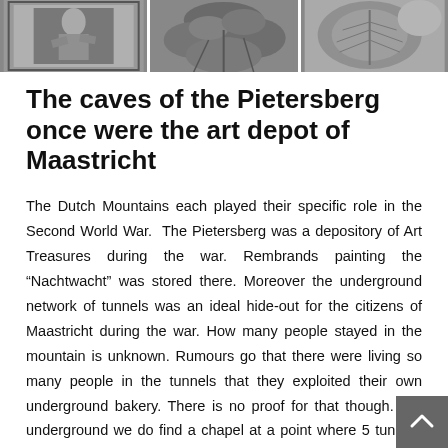[Figure (photo): Three black and white photographs in a horizontal strip: a figure/artwork on the left, leafy foliage in the center, and a plant/leaf close-up on the right.]
The caves of the Pietersberg once were the art depot of Maastricht
The Dutch Mountains each played their specific role in the Second World War. The Pietersberg was a depository of Art Treasures during the war. Rembrands painting the “Nachtwacht” was stored there. Moreover the underground network of tunnels was an ideal hide-out for the citizens of Maastricht during the war. How many people stayed in the mountain is unknown. Rumours go that there were living so many people in the tunnels that they exploited their own underground bakery. There is no proof for that though. But underground we do find a chapel at a point where 5 tunnels cross.